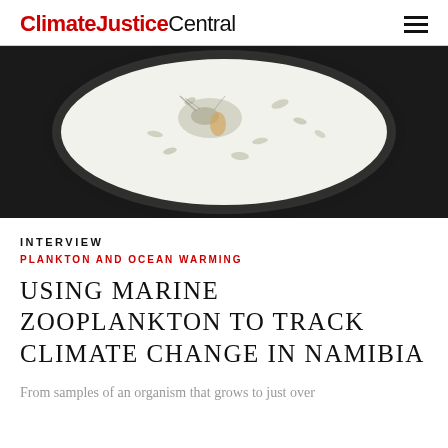ClimateJusticeCentral
[Figure (photo): Microscope image of marine zooplankton specimens viewed through a circular lens against a dark background. The circular field of view shows small crustacean-like organisms scattered on a white/light background.]
INTERVIEW
PLANKTON AND OCEAN WARMING
USING MARINE ZOOPLANKTON TO TRACK CLIMATE CHANGE IN NAMIBIA
From samples of an organism that grows to just over